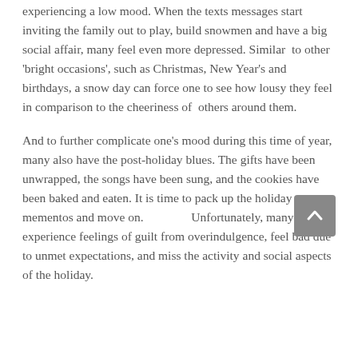experiencing a low mood. When the texts messages start inviting the family out to play, build snowmen and have a big social affair, many feel even more depressed. Similar to other 'bright occasions', such as Christmas, New Year's and birthdays, a snow day can force one to see how lousy they feel in comparison to the cheeriness of others around them.
And to further complicate one's mood during this time of year, many also have the post-holiday blues. The gifts have been unwrapped, the songs have been sung, and the cookies have been baked and eaten. It is time to pack up the holiday mementos and move on. Unfortunately, many experience feelings of guilt from overindulgence, feel bad due to unmet expectations, and miss the activity and social aspects of the holiday.